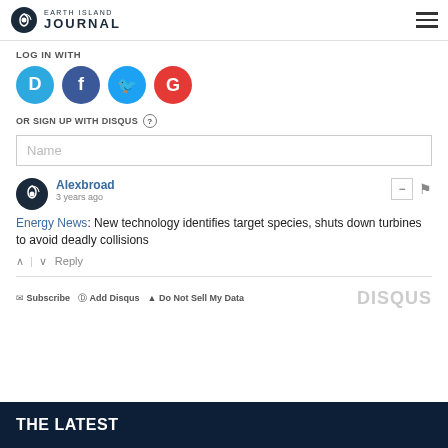Earth Island Journal
LOG IN WITH
[Figure (logo): Social login icons: Disqus (blue), Facebook (dark blue), Twitter (light blue), Google (red)]
OR SIGN UP WITH DISQUS (?)
Name
Alexbroad
3 years ago
Energy News: New technology identifies target species, shuts down turbines to avoid deadly collisions
↑ | ↓  Reply
✉ Subscribe  Ⓓ Add Disqus  ▲ Do Not Sell My Data   DISQUS
THE LATEST